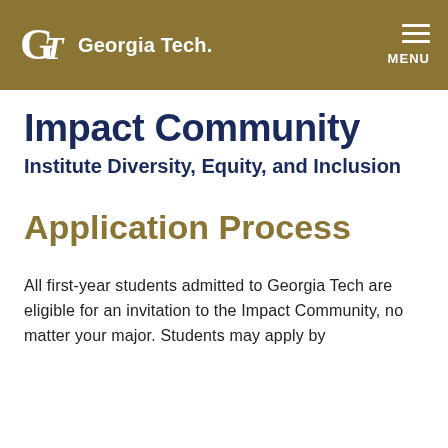Georgia Tech — MENU
Impact Community
Institute Diversity, Equity, and Inclusion
Application Process
All first-year students admitted to Georgia Tech are eligible for an invitation to the Impact Community, no matter your major. Students may apply by